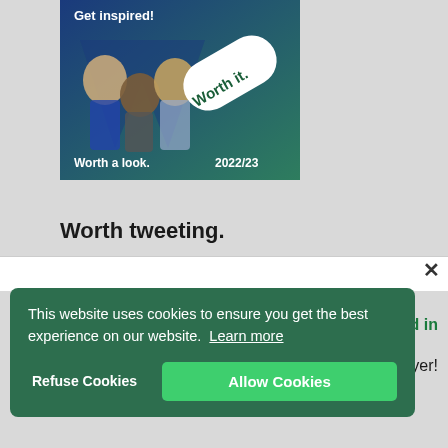[Figure (illustration): A promotional brochure cover with 'Get inspired!' text, students in a W-shaped cutout, a large white diagonal 'Worth it.' badge, 'Worth a look.' and '2022/23' text at the bottom, on a blue-to-green gradient background.]
Worth tweeting.
Worth a look.
ted in
flyer!
This website uses cookies to ensure you get the best experience on our website. Learn more
Refuse Cookies
Allow Cookies